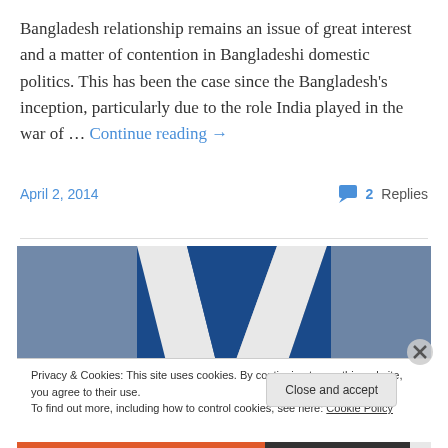Bangladesh relationship remains an issue of great interest and a matter of contention in Bangladeshi domestic politics. This has been the case since the Bangladesh's inception, particularly due to the role India played in the war of … Continue reading →
April 2, 2014
2 Replies
[Figure (photo): Close-up photo of a flag with blue and white diagonal sections, appears to be a flag fabric texture.]
Privacy & Cookies: This site uses cookies. By continuing to use this website, you agree to their use. To find out more, including how to control cookies, see here: Cookie Policy
Close and accept